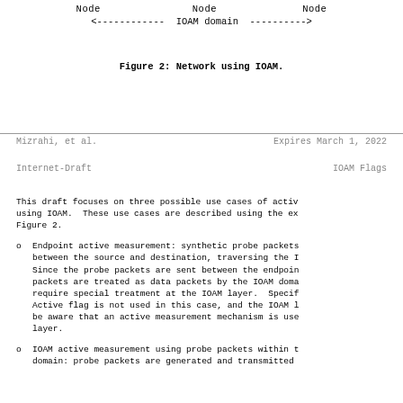[Figure (other): Top portion of network diagram showing nodes with IOAM domain label and arrow indicators]
Figure 2: Network using IOAM.
Mizrahi, et al.                Expires March 1, 2022
Internet-Draft                      IOAM Flags
This draft focuses on three possible use cases of active measurement using IOAM. These use cases are described using the example in Figure 2.
Endpoint active measurement: synthetic probe packets are sent between the source and destination, traversing the IOAM domain. Since the probe packets are sent between the endpoints, the packets are treated as data packets by the IOAM domain, i.e., they do not require special treatment at the IOAM layer. Specifically, the Active flag is not used in this case, and the IOAM layer does not need to be aware that an active measurement mechanism is used above the IOAM layer.
IOAM active measurement using probe packets within the IOAM domain: probe packets are generated and transmitted within the IOAM domain.